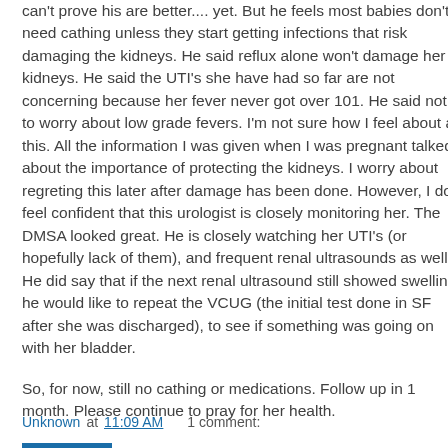can't prove his are better.... yet. But he feels most babies don't need cathing unless they start getting infections that risk damaging the kidneys. He said reflux alone won't damage her kidneys. He said the UTI's she have had so far are not concerning because her fever never got over 101. He said not to worry about low grade fevers. I'm not sure how I feel about all this. All the information I was given when I was pregnant talked about the importance of protecting the kidneys. I worry about regreting this later after damage has been done. However, I do feel confident that this urologist is closely monitoring her. The DMSA looked great. He is closely watching her UTI's (or hopefully lack of them), and frequent renal ultrasounds as well. He did say that if the next renal ultrasound still showed swelling, he would like to repeat the VCUG (the initial test done in SF after she was discharged), to see if something was going on with her bladder.
So, for now, still no cathing or medications. Follow up in 1 month. Please continue to pray for her health.
Unknown at 11:09 AM   1 comment: